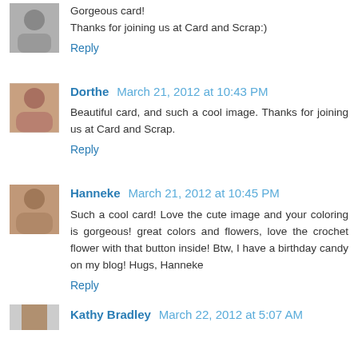Gorgeous card!
Thanks for joining us at Card and Scrap:)
Reply
Dorthe  March 21, 2012 at 10:43 PM
Beautiful card, and such a cool image. Thanks for joining us at Card and Scrap.
Reply
Hanneke  March 21, 2012 at 10:45 PM
Such a cool card! Love the cute image and your coloring is gorgeous! great colors and flowers, love the crochet flower with that button inside! Btw, I have a birthday candy on my blog! Hugs, Hanneke
Reply
Kathy Bradley  March 22, 2012 at 5:07 AM